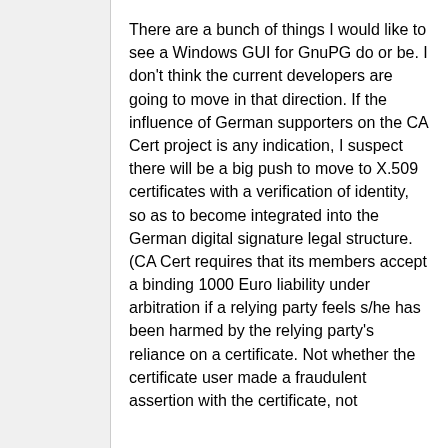There are a bunch of things I would like to see a Windows GUI for GnuPG do or be. I don't think the current developers are going to move in that direction. If the influence of German supporters on the CA Cert project is any indication, I suspect there will be a big push to move to X.509 certificates with a verification of identity, so as to become integrated into the German digital signature legal structure. (CA Cert requires that its members accept a binding 1000 Euro liability under arbitration if a relying party feels s/he has been harmed by the relying party's reliance on a certificate. Not whether the certificate user made a fraudulent assertion with the certificate, not